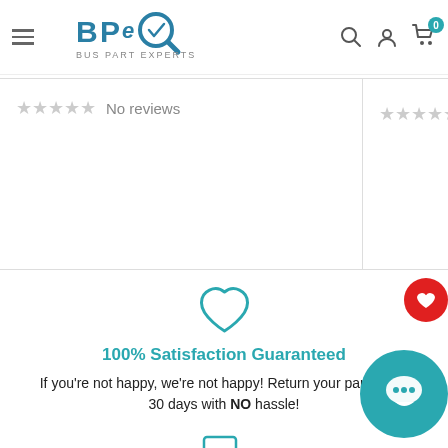[Figure (logo): BPe Bus Part Experts logo with magnifying glass icon]
[Figure (screenshot): Review section showing star ratings and No reviews text in two columns]
[Figure (infographic): 100% Satisfaction Guaranteed section with heart icon, title, and description text. Chat bubble icon also visible.]